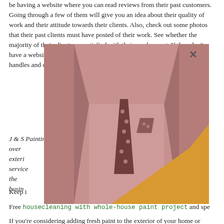be having a website where you can read reviews from their past customers. Going through a few of them will give you an idea about their quality of work and their attitude towards their clients. Also, check out some photos that their past clients must have posted of their work. See whether the majority of their clients are satisfied with their work or not. If they don't have a website, you can also find such reviews on their social media handles and online forums.
[Figure (photo): Black and white photo of a man in a white suit with a polka dot tie and pocket square, overlaid with a pink/rose-colored rectangle and a yellow triangle shape. An X close button is visible.]
J & S Painting Plus, a family owned and operated business for over [years] and exterior painting services distinguishes [clients] with the remains [rated] business [quality] service
Keep i[n mind your] irements
Free housecleaning with whole-house paint project and spe[cials]
If you're considering adding fresh paint to the exterior of your home or